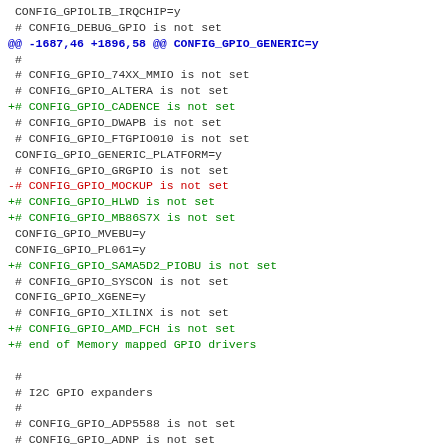CONFIG_GPIOLIB_IRQCHIP=y
# CONFIG_DEBUG_GPIO is not set
@@ -1687,46 +1896,58 @@ CONFIG_GPIO_GENERIC=y
 #
 # CONFIG_GPIO_74XX_MMIO is not set
 # CONFIG_GPIO_ALTERA is not set
+# CONFIG_GPIO_CADENCE is not set
 # CONFIG_GPIO_DWAPB is not set
 # CONFIG_GPIO_FTGPIO010 is not set
 CONFIG_GPIO_GENERIC_PLATFORM=y
 # CONFIG_GPIO_GRGPIO is not set
-# CONFIG_GPIO_MOCKUP is not set
+# CONFIG_GPIO_HLWD is not set
+# CONFIG_GPIO_MB86S7X is not set
 CONFIG_GPIO_MVEBU=y
 CONFIG_GPIO_PL061=y
+# CONFIG_GPIO_SAMA5D2_PIOBU is not set
 # CONFIG_GPIO_SYSCON is not set
 CONFIG_GPIO_XGENE=y
 # CONFIG_GPIO_XILINX is not set
+# CONFIG_GPIO_AMD_FCH is not set
+# end of Memory mapped GPIO drivers

 #
 # I2C GPIO expanders
 #
 # CONFIG_GPIO_ADP5588 is not set
 # CONFIG_GPIO_ADNP is not set
+# CONFIG_GPIO_GW_PLD is not set
 # CONFIG_GPIO_MAX7300 is not set
 # CONFIG_GPIO_MAX7300X is not set